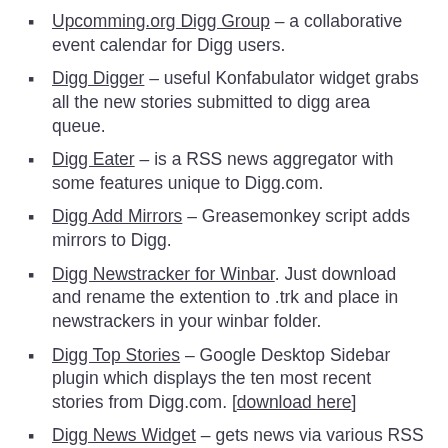Upcomming.org Digg Group – a collaborative event calendar for Digg users.
Digg Digger – useful Konfabulator widget grabs all the new stories submitted to digg area queue.
Digg Eater – is a RSS news aggregator with some features unique to Digg.com.
Digg Add Mirrors – Greasemonkey script adds mirrors to Digg.
Digg Newstracker for Winbar. Just download and rename the extention to .trk and place in newstrackers in your winbar folder.
Digg Top Stories – Google Desktop Sidebar plugin which displays the ten most recent stories from Digg.com. [download here]
Digg News Widget – gets news via various RSS feeds from digg.com.
Digg Toolbar – Instant access to digg from any site on the web and get digg.com headlines automatically. [mirror]